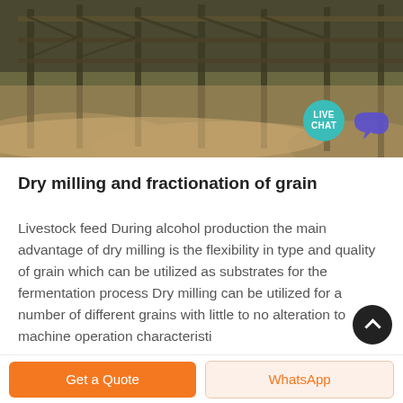[Figure (photo): Industrial grain milling facility with structural scaffolding, heavy machinery, and piles of grain/material. A Live Chat button overlay appears in the bottom right of the image.]
Dry milling and fractionation of grain
Livestock feed During alcohol production the main advantage of dry milling is the flexibility in type and quality of grain which can be utilized as substrates for the fermentation process Dry milling can be utilized for a number of different grains with little to no alteration to machine operation characteristi